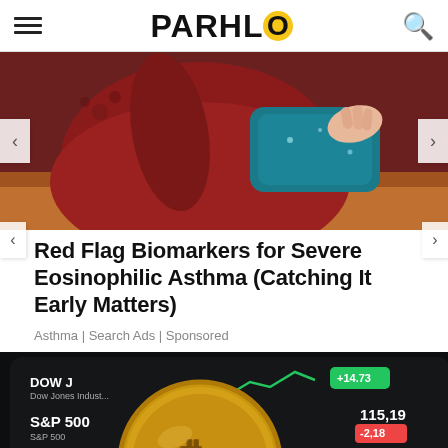PARHLO
[Figure (photo): Person in dark red top holding a blue/teal ice or heating pad against their midsection, seated on a sofa]
Red Flag Biomarkers for Severe Eosinophilic Asthma (Catching It Early Matters)
Asthma | Search Ads | Sponsored
[Figure (photo): Stock market app on smartphone with ticker symbols DOW J, S&P 500, AAPL and a large gold Bitcoin coin in the foreground. Screen shows values: 115.19, -2.18, 208.42, +8.80, 229.04]